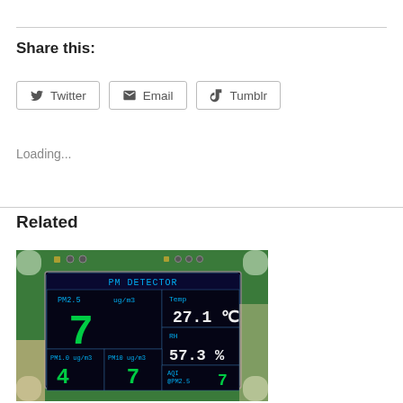Share this:
Twitter
Email
Tumblr
Loading...
Related
[Figure (photo): PM Detector device showing a green circuit board holding an LCD screen. Screen displays: PM DETECTOR, PM2.5 = 7 ug/m3, Temp = 27.1°C, RH = 57.3%, PM1.0 = 4 ug/m3, PM10 = 7 ug/m3, AQI PM2.5 = 7]